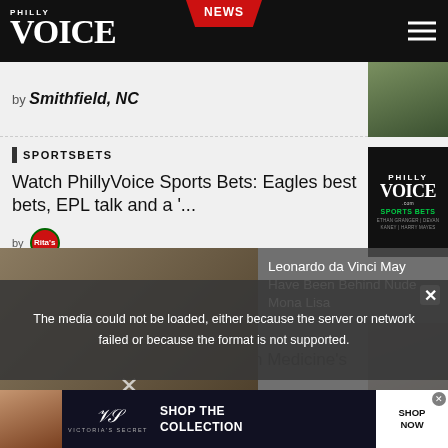PhillyVoice — NEWS
by Smithfield, NC
SPORTSBETS
Watch PhillyVoice Sports Bets: Eagles best bets, EPL talk and a '...
by Rita's
PREVENTION
Prostate cancer program at Penn Medicine's Abramson Cancer Cent...
The media could not be loaded, either because the server or network failed or because the format is not supported.
Leonardo da Vinci May Have Been Behind Nude Mona Lisa
SHOP THE COLLECTION — SHOP NOW (Victoria's Secret advertisement)